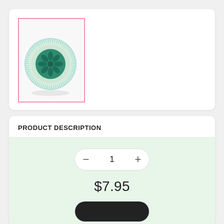[Figure (photo): A round green soap bar with loofah texture and floral center pattern, displayed upright, inside a pink-bordered rectangular frame on a white card.]
PRODUCT DESCRIPTION
1
$7.95